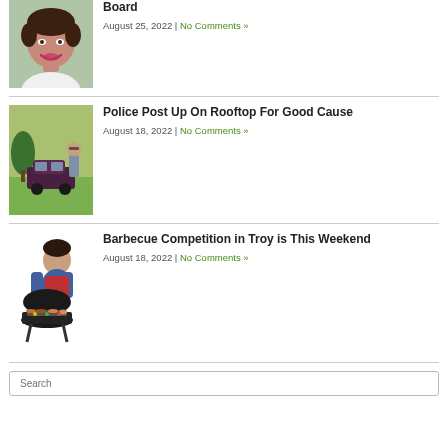[Figure (photo): Woman smiling, portrait photo]
Board
August 25, 2022 | No Comments »
[Figure (photo): Police officer standing next to a dark car on a grass field]
Police Post Up On Rooftop For Good Cause
August 18, 2022 | No Comments »
[Figure (illustration): Person in red apron with a barbecue grill full of food]
Barbecue Competition in Troy is This Weekend
August 18, 2022 | No Comments »